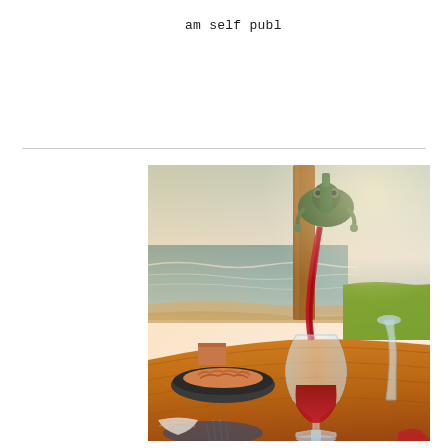am self publ
[Figure (photo): A beach dining scene with red wine being poured from a novelty bottle holder into a wine glass on a wooden table. A bowl of fried food is visible on the left. Ocean waves and a grassy area are visible in the background.]